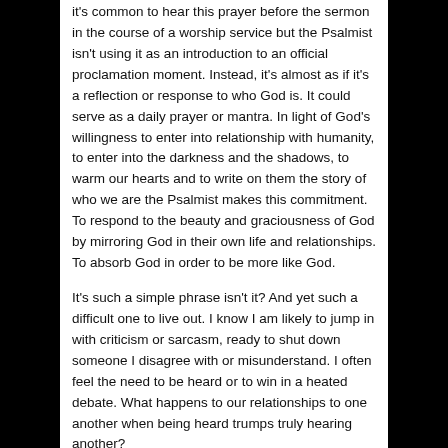it's common to hear this prayer before the sermon in the course of a worship service but the Psalmist isn't using it as an introduction to an official proclamation moment. Instead, it's almost as if it's a reflection or response to who God is. It could serve as a daily prayer or mantra. In light of God's willingness to enter into relationship with humanity, to enter into the darkness and the shadows, to warm our hearts and to write on them the story of who we are the Psalmist makes this commitment. To respond to the beauty and graciousness of God by mirroring God in their own life and relationships. To absorb God in order to be more like God.
It's such a simple phrase isn't it? And yet such a difficult one to live out. I know I am likely to jump in with criticism or sarcasm, ready to shut down someone I disagree with or misunderstand. I often feel the need to be heard or to win in a heated debate. What happens to our relationships to one another when being heard trumps truly hearing another?
There are times in which speaking up and speaking out